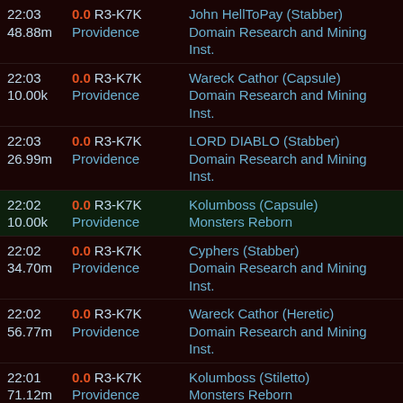22:03 | 0.0 R3-K7K | John HellToPay (Stabber) | 48.88m | Providence | Domain Research and Mining Inst.
22:03 | 0.0 R3-K7K | Wareck Cathor (Capsule) | 10.00k | Providence | Domain Research and Mining Inst.
22:03 | 0.0 R3-K7K | LORD DIABLO (Stabber) | 26.99m | Providence | Domain Research and Mining Inst.
22:02 | 0.0 R3-K7K | Kolumboss (Capsule) | 10.00k | Providence | Monsters Reborn
22:02 | 0.0 R3-K7K | Cyphers (Stabber) | 34.70m | Providence | Domain Research and Mining Inst.
22:02 | 0.0 R3-K7K | Wareck Cathor (Heretic) | 56.77m | Providence | Domain Research and Mining Inst.
22:01 | 0.0 R3-K7K | Kolumboss (Stiletto) | 71.12m | Providence | Monsters Reborn
21:08 | 0.1 Misaba | Pracyon Iotor (Punisher) | 5.89m | Domain | The Rogue Auxiliaries
19:51 | 0.1 Misaba | Juliette Scruffs (Sunesis) | 128.96m | Domain | Outsmarted